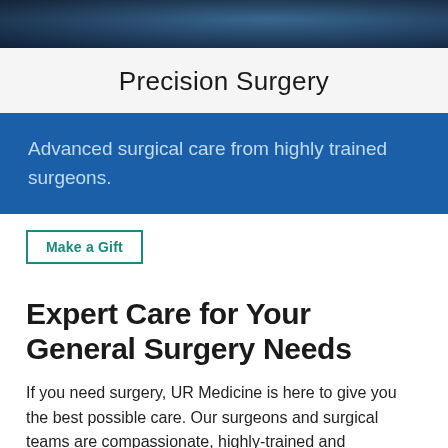[Figure (photo): Dark blue/teal surgical or medical background photo banner at top of page]
Precision Surgery
Advanced surgical care from highly trained surgeons.
Make a Gift
Expert Care for Your General Surgery Needs
If you need surgery, UR Medicine is here to give you the best possible care. Our surgeons and surgical teams are compassionate, highly-trained and